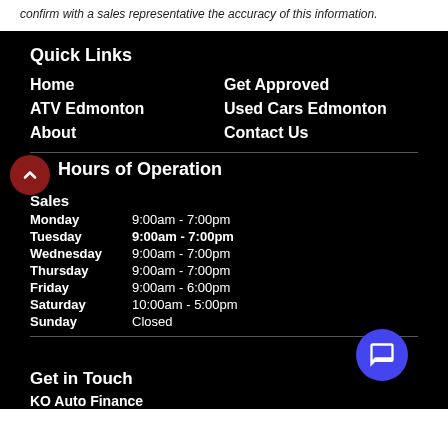confirm with a sales representative the accuracy of this information.
Quick Links
Home
Get Approved
ATV Edmonton
Used Cars Edmonton
About
Contact Us
Hours of Operation
Sales
| Day | Hours |
| --- | --- |
| Monday | 9:00am - 7:00pm |
| Tuesday | 9:00am - 7:00pm |
| Wednesday | 9:00am - 7:00pm |
| Thursday | 9:00am - 7:00pm |
| Friday | 9:00am - 6:00pm |
| Saturday | 10:00am - 5:00pm |
| Sunday | Closed |
Get in Touch
KO Auto Finance